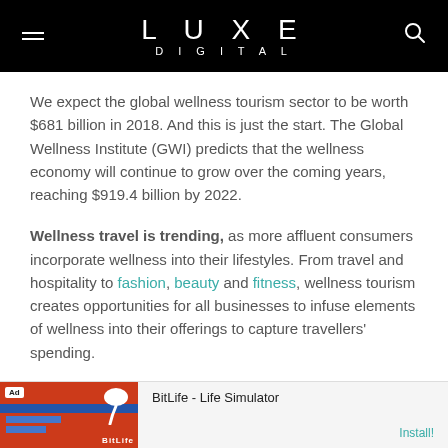LUXE DIGITAL
We expect the global wellness tourism sector to be worth $681 billion in 2018. And this is just the start. The Global Wellness Institute (GWI) predicts that the wellness economy will continue to grow over the coming years, reaching $919.4 billion by 2022.
Wellness travel is trending, as more affluent consumers incorporate wellness into their lifestyles. From travel and hospitality to fashion, beauty and fitness, wellness tourism creates opportunities for all businesses to infuse elements of wellness into their offerings to capture travellers' spending.
[Figure (screenshot): Advertisement banner for BitLife - Life Simulator app with Install button]